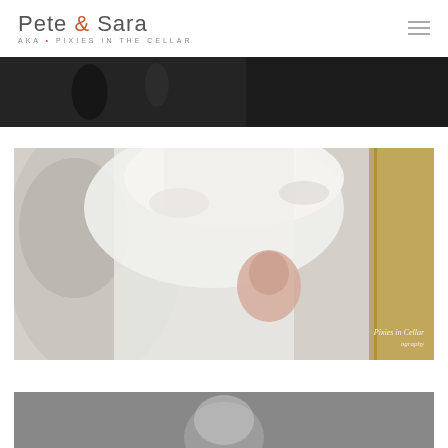[Figure (logo): Pete & Sara AKA Pixies in the Cellar logo with text in grey and orange ampersand]
[Figure (photo): Black and white wedding photo - partial strip visible at top with Pixies in the Cellar Wedding Photography watermark]
[Figure (photo): Wedding preparation photo showing bride's veil being fitted, with Pixies in the Cellar Wedding Photography watermark in bottom right]
[Figure (photo): Another wedding photo partially visible at bottom of page]